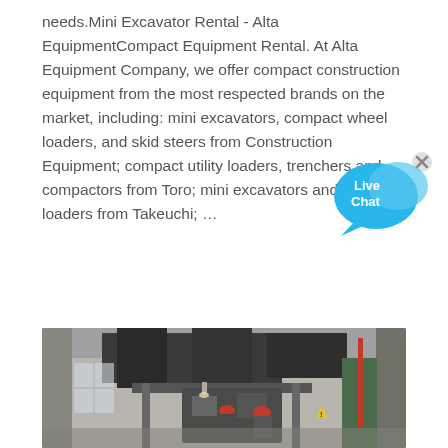needs.Mini Excavator Rental - Alta EquipmentCompact Equipment Rental. At Alta Equipment Company, we offer compact construction equipment from the most respected brands on the market, including: mini excavators, compact wheel loaders, and skid steers from Construction Equipment; compact utility loaders, trenchers and compactors from Toro; mini excavators and track loaders from Takeuchi; …
[Figure (illustration): Live Chat speech bubble icon with 'Live Chat' text and a blue X close button in top right]
[Figure (photo): Industrial factory interior with large machinery, overhead equipment, workers in safety gear, tall ceilings and structural columns]